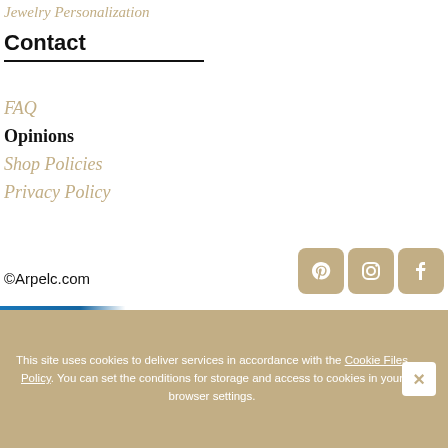Jewelry Personalization
Contact
FAQ
Opinions
Shop Policies
Privacy Policy
[Figure (logo): Social media icons: Pinterest, Instagram, Facebook in gold/tan rounded squares]
©Arpelc.com
[Figure (infographic): Shoper payment methods banner showing various Polish bank logos and payment card logos including Bank Pekao, Volkswagen Bank, mBank, PKO, ING, Deutsche Bank, Citi Bank, Credit Agricole, BGZ, BNP Paribas, Visa, Maestro, Mastercard, Diners Club, and others]
This site uses cookies to deliver services in accordance with the Cookie Files Policy. You can set the conditions for storage and access to cookies in your browser settings.